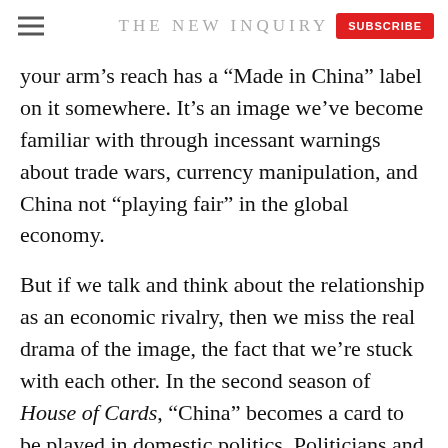THE NEW INQUIRY
your arm's reach has a “Made in China” label on it somewhere. It’s an image we’ve become familiar with through incessant warnings about trade wars, currency manipulation, and China not “playing fair” in the global economy.
But if we talk and think about the relationship as an economic rivalry, then we miss the real drama of the image, the fact that we’re stuck with each other. In the second season of House of Cards, “China” becomes a card to be played in domestic politics. Politicians and billionaires know that the relationship is complex and interdependent, yet they scramble to score political points with playground rhetoric about